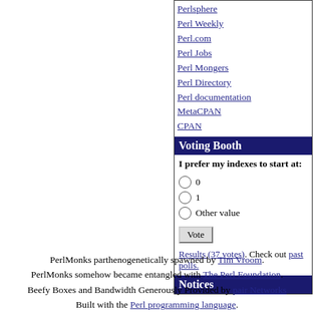Perlsphere
Perl Weekly
Perl.com
Perl Jobs
Perl Mongers
Perl Directory
Perl documentation
MetaCPAN
CPAN
Voting Booth
I prefer my indexes to start at:
0
1
Other value
Results (37 votes). Check out past polls.
Notices
PerlMonks parthenogenetically spawned by Tim Vroom. PerlMonks somehow became entangled with The Perl Foundation. Beefy Boxes and Bandwidth Generously Provided by pair Networks Built with the Perl programming language.